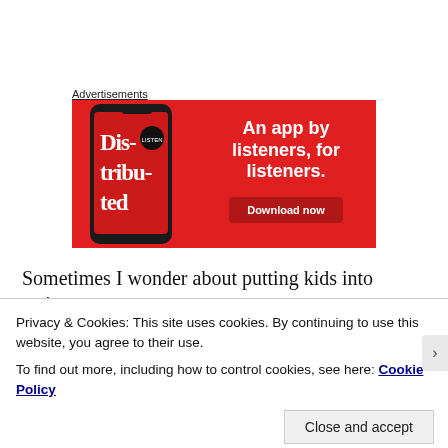Advertisements
[Figure (illustration): Red advertisement banner for a podcast app called 'Distributed'. Shows a smartphone displaying the app with bold serif text 'Dis-tribu-ted' on the screen. Right side has white text: 'An app by listeners, for listeners.' with a dark red 'Download now' button.]
Sometimes I wonder about putting kids into serious
Privacy & Cookies: This site uses cookies. By continuing to use this website, you agree to their use.
To find out more, including how to control cookies, see here: Cookie Policy
Close and accept